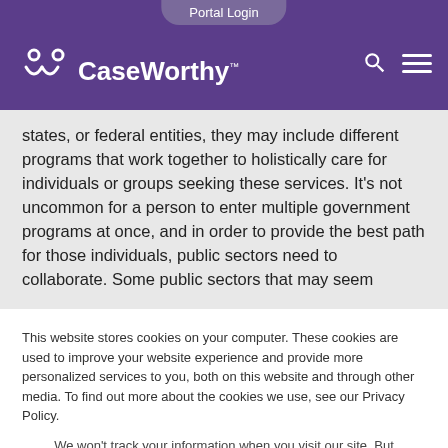Portal Login | CaseWorthy
states, or federal entities, they may include different programs that work together to holistically care for individuals or groups seeking these services. It's not uncommon for a person to enter multiple government programs at once, and in order to provide the best path for those individuals, public sectors need to collaborate. Some public sectors that may seem
This website stores cookies on your computer. These cookies are used to improve your website experience and provide more personalized services to you, both on this website and through other media. To find out more about the cookies we use, see our Privacy Policy.
We won't track your information when you visit our site. But in order to comply with your preferences, we'll have to use just one tiny cookie so that you're not asked to make this choice again.